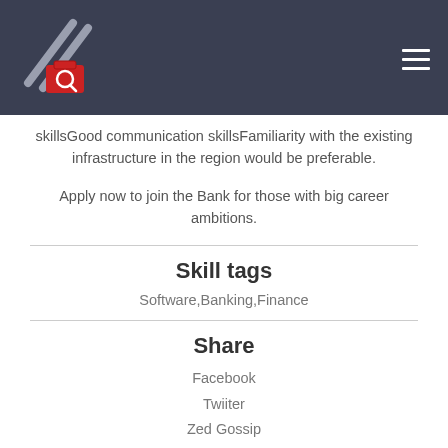skillsGood communication skillsFamiliarity with the existing infrastructure in the region would be preferable.
Apply now to join the Bank for those with big career ambitions.
Skill tags
Software,Banking,Finance
Share
Facebook
Twiiter
Zed Gossip
Another one here